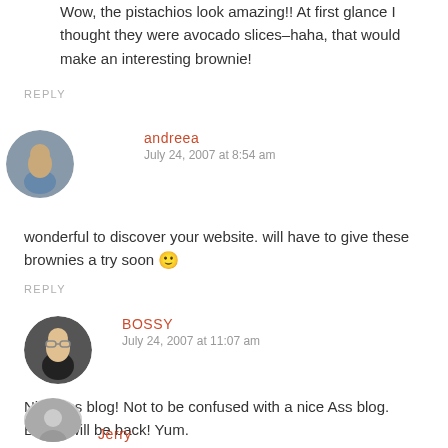Wow, the pistachios look amazing!! At first glance I thought they were avocado slices–haha, that would make an interesting brownie!
REPLY
andreea
July 24, 2007 at 8:54 am
wonderful to discover your website. will have to give these brownies a try soon 🙂
REPLY
BOSSY
July 24, 2007 at 11:07 am
Nice-ass blog! Not to be confused with a nice Ass blog. Bossy will be back! Yum.
REPLY
Jerry